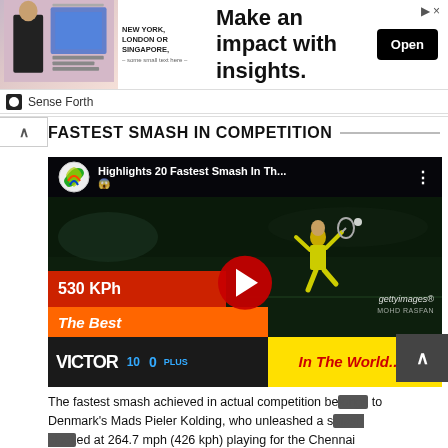[Figure (screenshot): Advertisement banner: image of man in suit, text 'NEW YORK, LONDON OR SINGAPORE', headline 'Make an impact with insights.', Open button, Sense Forth branding]
FASTEST SMASH IN COMPETITION
[Figure (screenshot): YouTube video thumbnail: 'Highlights 20 Fastest Smash In Th...' showing badminton player jumping smash, '530 KPh', 'The Best', 'In The World...!!' overlays, red play button, Getty Images watermark]
The fastest smash achieved in actual competition belongs to Denmark's Mads Pieler Kolding, who unleashed a smash clocked at 264.7 mph (426 kph) playing for the Chennai Smashers in India's 2017 Premier Badminton